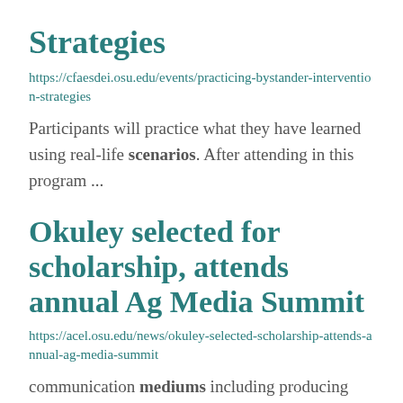Strategies
https://cfaesdei.osu.edu/events/practicing-bystander-intervention-strategies
Participants will practice what they have learned using real-life scenarios. After attending in this program ...
Okuley selected for scholarship, attends annual Ag Media Summit
https://acel.osu.edu/news/okuley-selected-scholarship-attends-annual-ag-media-summit
communication mediums including producing podcasts, engaging community on social media, photography in natural ...